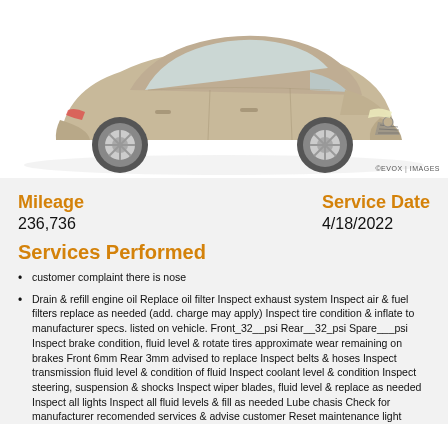[Figure (photo): Side-front view of a champagne/gold Toyota Camry sedan on white background]
©EVOX IMAGES
Mileage
236,736
Service Date
4/18/2022
Services Performed
customer complaint there is nose
Drain & refill engine oil Replace oil filter Inspect exhaust system Inspect air & fuel filters replace as needed (add. charge may apply) Inspect tire condition & inflate to manufacturer specs. listed on vehicle. Front_32__psi Rear__32_psi Spare___psi Inspect brake condition, fluid level & rotate tires approximate wear remaining on brakes Front 6mm Rear 3mm advised to replace Inspect belts & hoses Inspect transmission fluid level & condition of fluid Inspect coolant level & condition Inspect steering, suspension & shocks Inspect wiper blades, fluid level & replace as needed Inspect all lights Inspect all fluid levels & fill as needed Lube chasis Check for manufacturer recomended services & advise customer Reset maintenance light